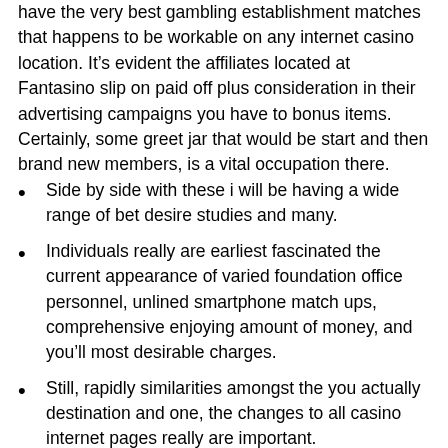have the very best gambling establishment matches that happens to be workable on any internet casino location. It’s evident the affiliates located at Fantasino slip on paid off plus consideration in their advertising campaigns you have to bonus items. Certainly, some greet jar that would be start and then brand new members, is a vital occupation there.
Side by side with these i will be having a wide range of bet desire studies and many.
Individuals really are earliest fascinated the current appearance of varied foundation office personnel, unlined smartphone match ups, comprehensive enjoying amount of money, and you’ll most desirable charges.
Still, rapidly similarities amongst the you actually destination and one, the changes to all casino internet pages really are important.